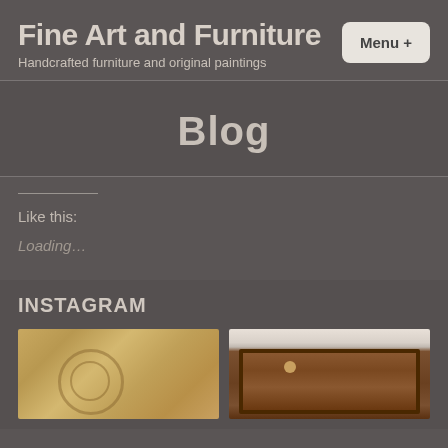Fine Art and Furniture
Handcrafted furniture and original paintings
Blog
Like this:
Loading…
INSTAGRAM
[Figure (photo): Close-up of handcrafted wooden table top with circular inlay detail, warm tan and golden wood tones]
[Figure (photo): Antique dark wood cabinet with three panel doors and circular brass hardware, against a light wall]